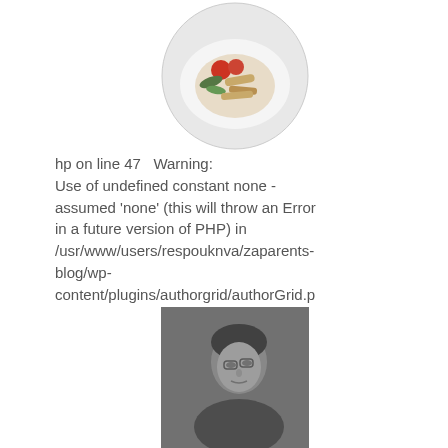[Figure (photo): Photo of a food dish (chicken/fish with tomatoes and greens) on a white plate, circular crop]
hp on line 47 Warning: Use of undefined constant none - assumed 'none' (this will throw an Error in a future version of PHP) in /usr/www/users/respouknva/zaparents-blog/wp-content/plugins/authorgrid/authorGrid.p
[Figure (photo): Black and white photo of a man looking upward]
hp on line 47 Warning: Use of undefined constant none - assumed 'none' (this will throw an Error in a future version of PHP) in /usr/www/users/respouknva/zaparents-blog/wp-content/plugins/authorgrid/authorGrid.p
[Figure (photo): Color photo of a woman with dark hair, portrait headshot]
hp on line 47 Warning: Use of undefined constant